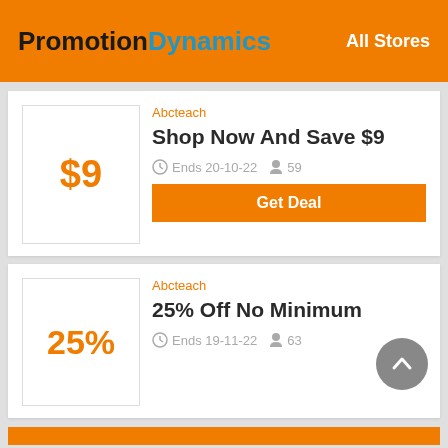PromotionDynamics | All Stores
Abcteach
Shop Now And Save $9
Ends 20-10-22  59
Get Deal
Abcteach
25% Off No Minimum
Ends 19-11-22  63